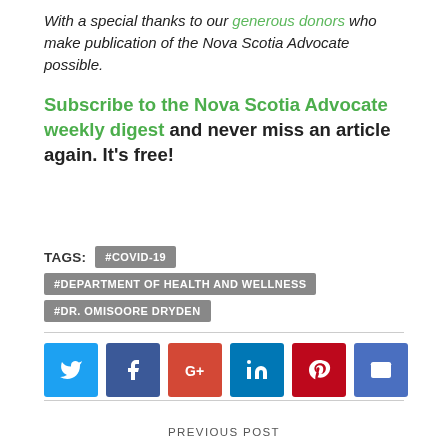With a special thanks to our generous donors who make publication of the Nova Scotia Advocate possible.
Subscribe to the Nova Scotia Advocate weekly digest and never miss an article again. It's free!
TAGS: #COVID-19  #DEPARTMENT OF HEALTH AND WELLNESS  #DR. OMISOORE DRYDEN
[Figure (other): Social media share buttons: Twitter, Facebook, Google+, LinkedIn, Pinterest, Email]
PREVIOUS POST